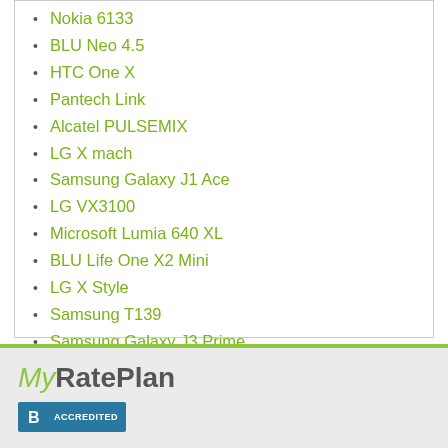Nokia 6133
BLU Neo 4.5
HTC One X
Pantech Link
Alcatel PULSEMIX
LG X mach
Samsung Galaxy J1 Ace
LG VX3100
Microsoft Lumia 640 XL
BLU Life One X2 Mini
LG X Style
Samsung T139
Samsung Galaxy J3 Prime
Kyocera SE47 Slider
MyRatePlan